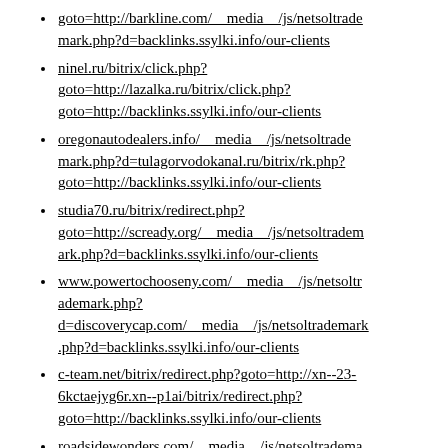goto=http://barkline.com/__media__/js/netsoltrademark.php?d=backlinks.ssylki.info/our-clients
ninel.ru/bitrix/click.php?goto=http://lazalka.ru/bitrix/click.php?goto=http://backlinks.ssylki.info/our-clients
oregonautodealers.info/__media__/js/netsoltrademark.php?d=tulagorvodokanal.ru/bitrix/rk.php?goto=http://backlinks.ssylki.info/our-clients
studia70.ru/bitrix/redirect.php?goto=http://scready.org/__media__/js/netsoltrademark.php?d=backlinks.ssylki.info/our-clients
www.powertochooseny.com/__media__/js/netsoltrademark.php?d=discoverycap.com/__media__/js/netsoltrademark.php?d=backlinks.ssylki.info/our-clients
c-team.net/bitrix/redirect.php?goto=http://xn--23-6kctaejyg6r.xn--p1ai/bitrix/redirect.php?goto=http://backlinks.ssylki.info/our-clients
roadsidewonders.com/__media__/js/netsoltradema